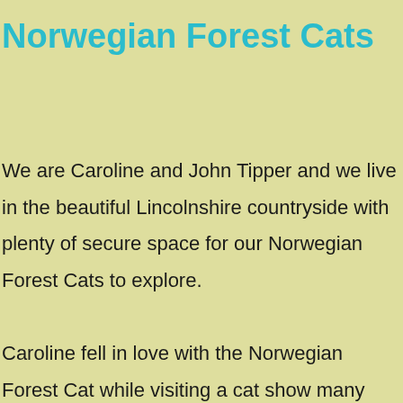Norwegian Forest Cats
We are Caroline and John Tipper and we live in the beautiful Lincolnshire countryside with plenty of secure space for our Norwegian Forest Cats to explore.

Caroline fell in love with the Norwegian Forest Cat while visiting a cat show many years ago, but we were not in a position to have a cat then so when we moved to this